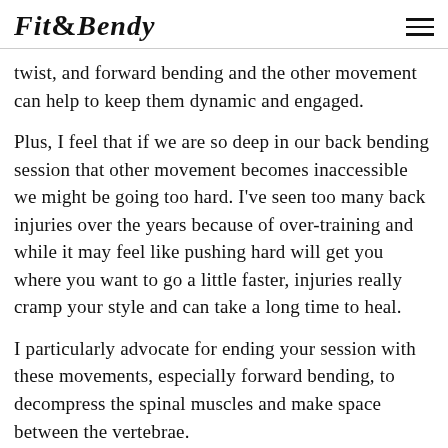Fit & Bendy
twist, and forward bending and the other movement can help to keep them dynamic and engaged.
Plus, I feel that if we are so deep in our back bending session that other movement becomes inaccessible we might be going too hard. I've seen too many back injuries over the years because of over-training and while it may feel like pushing hard will get you where you want to go a little faster, injuries really cramp your style and can take a long time to heal.
I particularly advocate for ending your session with these movements, especially forward bending, to decompress the spinal muscles and make space between the vertebrae.